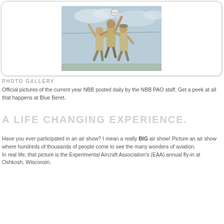[Figure (photo): Three people in tan/khaki uniforms jumping to hit a soccer/volleyball ball in the air against a cloudy sky background]
PHOTO GALLERY
Official pictures of the current year NBB posted daily by the NBB PAO staff. Get a peek at all that happens at Blue Beret.
A LIFE CHANGING EXPERIENCE.
Have you ever participated in an air show? I mean a really BIG air show! Picture an air show where hundreds of thousands of people come to see the many wonders of aviation.
In real life, that picture is the Experimental Aircraft Association's (EAA) annual fly-in at Oshkosh, Wisconsin.